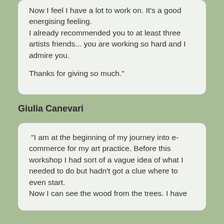Now I feel I have a lot to work on. It's a good energising feeling.
I already recommended you to at least three artists friends... you are working so hard and I admire you.

Thanks for giving so much."
Giulia Canevari
"I am at the beginning of my journey into e-commerce for my art practice. Before this workshop I had sort of a vague idea of what I needed to do but hadn't got a clue where to even start.
Now I can see the wood from the trees. I have